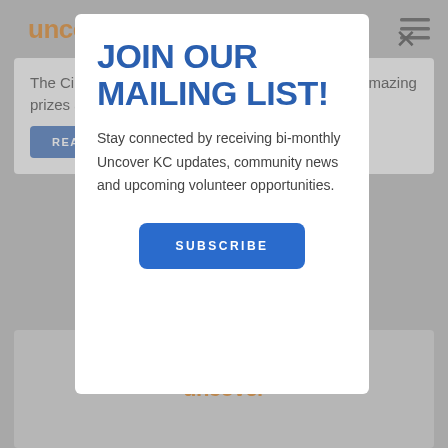[Figure (screenshot): Website background showing Uncover KC logo, hamburger menu, article text about Cinco De Mayo festivities, a READ MORE button, and a bottom image card with Uncover KC logo]
JOIN OUR MAILING LIST!
Stay connected by receiving bi-monthly Uncover KC updates, community news and upcoming volunteer opportunities.
SUBSCRIBE